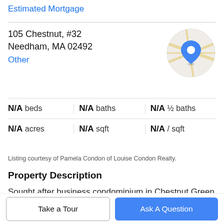Estimated Mortgage
105 Chestnut, #32
Needham, MA 02492
Other
[Figure (map): Circular map thumbnail showing a location pin marker on a street map]
| N/A beds | N/A baths | N/A ½ baths |
| N/A acres | N/A sqft | N/A / sqft |
Listing courtesy of Pamela Condon of Louise Condon Realty.
Property Description
Sought after business condominium in Chestnut Green professional office building. Desirable third floor unit with private bathroom. This space has a reception area and 3